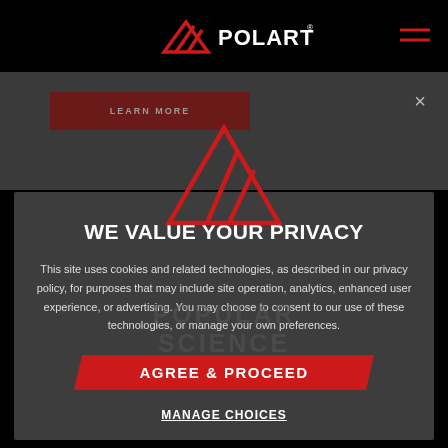[Figure (logo): Polartec logo with red triangle/mountain icon and POLARTEC text in white, with registered trademark symbol]
[Figure (screenshot): Website navigation bar with hamburger menu icon on right]
[Figure (screenshot): Dark banner strip with LEARN MORE button and close X button]
WE VALUE YOUR PRIVACY
This site uses cookies and related technologies, as described in our privacy policy, for purposes that may include site operation, analytics, enhanced user experience, or advertising. You may choose to consent to our use of these technologies, or manage your own preferences.
AGREE & PROCEED
MANAGE CHOICES